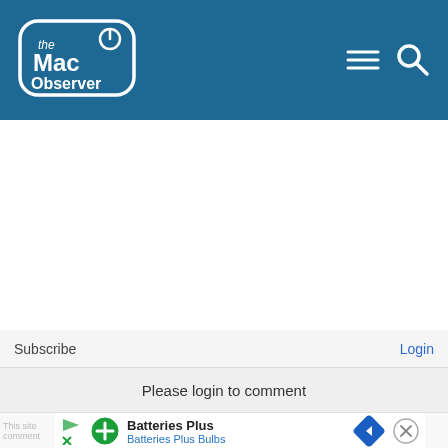[Figure (logo): The Mac Observer logo — white rounded rectangle with 'the Mac Observer' text and power button icon]
Subscribe
Login
Please login to comment
[Figure (other): Advertisement banner: Batteries Plus / Batteries Plus Bulbs with navigation arrow diamond icon and close button]